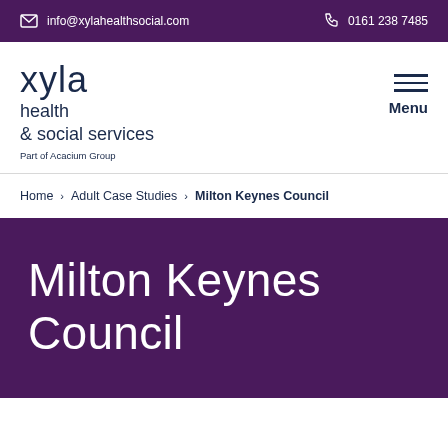info@xylahealthsocial.com  0161 238 7485
[Figure (logo): Xyla health & social services logo with text 'Part of Acacium Group' and hamburger menu icon with 'Menu' label]
Home > Adult Case Studies > Milton Keynes Council
Milton Keynes Council